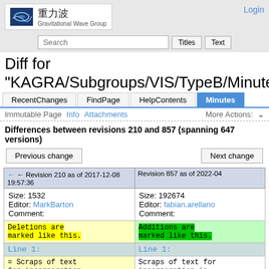重力波 Gravitational Wave Group | Login
Search | Titles | Text
Diff for "KAGRA/Subgroups/VIS/TypeB/Minutes"
RecentChanges | FindPage | HelpContents | Minutes
Immutable Page  Info  Attachments  More Actions:
Differences between revisions 210 and 857 (spanning 647 versions)
Previous change | Next change
| ← Revision 210 as of 2017-12-08 19:57:36 | Revision 857 as of 2022-04... |
| --- | --- |
| Size: 1532
Editor: MarkBarton
Comment: | Size: 192674
Editor: fabian.arellano
Comment: |
| Deletions are marked like this. | Additions are marked like this. |
| Line 1: | Line 1: |
| = Scraps of text
for incorporation... | Scraps of text for
incorporation in... |